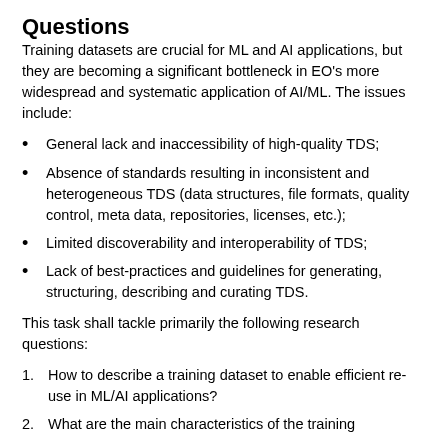Questions
Training datasets are crucial for ML and AI applications, but they are becoming a significant bottleneck in EO's more widespread and systematic application of AI/ML. The issues include:
General lack and inaccessibility of high-quality TDS;
Absence of standards resulting in inconsistent and heterogeneous TDS (data structures, file formats, quality control, meta data, repositories, licenses, etc.);
Limited discoverability and interoperability of TDS;
Lack of best-practices and guidelines for generating, structuring, describing and curating TDS.
This task shall tackle primarily the following research questions:
How to describe a training dataset to enable efficient re-use in ML/AI applications?
What are the main characteristics of the training